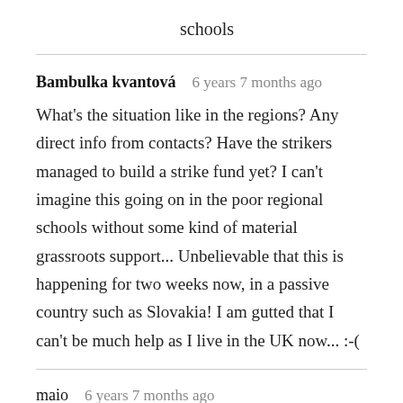schools
Bambulka kvantová   6 years 7 months ago
What's the situation like in the regions? Any direct info from contacts? Have the strikers managed to build a strike fund yet? I can't imagine this going on in the poor regional schools without some kind of material grassroots support... Unbelievable that this is happening for two weeks now, in a passive country such as Slovakia! I am gutted that I can't be much help as I live in the UK now... :-(
maio   6 years 7 months ago